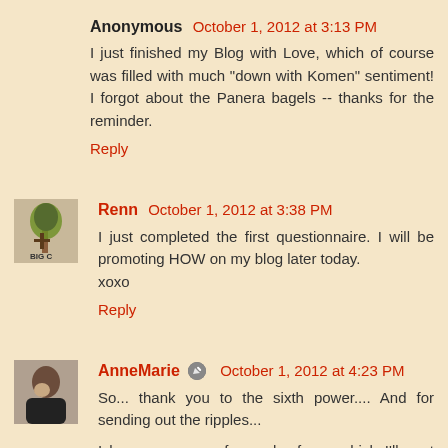Anonymous  October 1, 2012 at 3:13 PM
I just finished my Blog with Love, which of course was filled with much "down with Komen" sentiment! I forgot about the Panera bagels -- thanks for the reminder.
Reply
Renn  October 1, 2012 at 3:38 PM
I just completed the first questionnaire. I will be promoting HOW on my blog later today.
xoxo
Reply
AnneMarie  October 1, 2012 at 4:23 PM
So... thank you to the sixth power.... And for sending out the ripples...
I have messages for each of you which I'll post later... right...